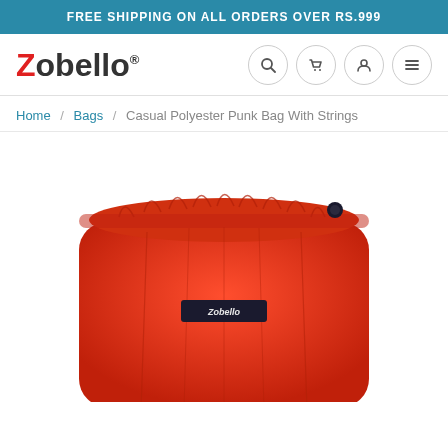FREE SHIPPING ON ALL ORDERS OVER RS.999
[Figure (logo): Zobello logo with registered trademark symbol]
Breadcrumb navigation: Home / Bags / Casual Polyester Punk Bag With Strings
[Figure (photo): Red drawstring bag with Zobello label on front, partially visible at bottom of page]